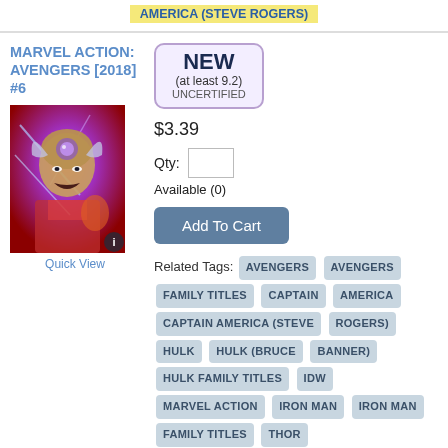AMERICA (STEVE ROGERS)
MARVEL ACTION: AVENGERS [2018] #6
[Figure (illustration): Comic book cover art showing a superhero (Thor-like character) in action with red and purple dramatic background]
Quick View
NEW (at least 9.2) UNCERTIFIED
$3.39
Qty:
Available (0)
Add To Cart
Related Tags: AVENGERS AVENGERS FAMILY TITLES CAPTAIN AMERICA CAPTAIN AMERICA (STEVE ROGERS) HULK HULK (BRUCE BANNER) HULK FAMILY TITLES IDW MARVEL ACTION IRON MAN IRON MAN FAMILY TITLES THOR